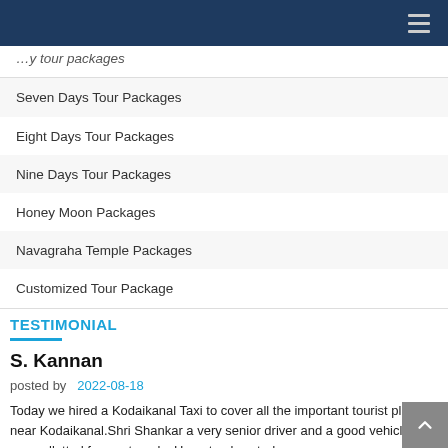Navigation bar with hamburger menu
Seven Days Tour Packages
Eight Days Tour Packages
Nine Days Tour Packages
Honey Moon Packages
Navagraha Temple Packages
Customized Tour Package
TESTIMONIAL
S. Kannan
posted by   2022-08-18
Today we hired a Kodaikanal Taxi to cover all the important tourist places near Kodaikanal.Shri Shankar a very senior driver and a good vehicle were allotted for our travels. He not only acted as
READMORE